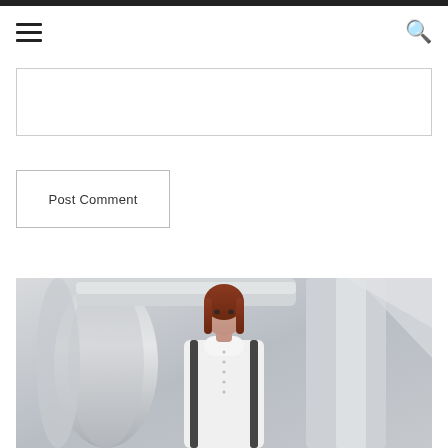Post Comment
[Figure (photo): A woman with red/auburn hair wearing a white high-neck top and dark suspenders, standing in front of industrial white pipes and structural elements.]